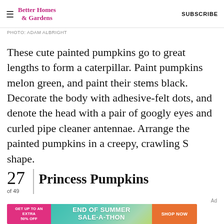Better Homes & Gardens | SUBSCRIBE
PHOTO: ADAM ALBRIGHT
These cute painted pumpkins go to great lengths to form a caterpillar. Paint pumpkins melon green, and paint their stems black. Decorate the body with adhesive-felt dots, and denote the head with a pair of googly eyes and curled pipe cleaner antennae. Arrange the painted pumpkins in a creepy, crawling S shape.
27 of 49 | Princess Pumpkins
[Figure (infographic): Advertisement banner: GET UP TO AN EXTRA 50% OFF | END OF SUMMER SALE-A-THON | SHOP NOW]